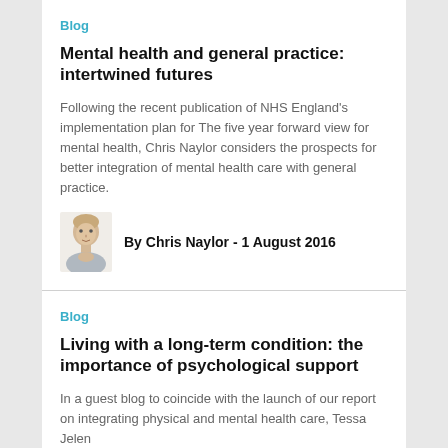Blog
Mental health and general practice: intertwined futures
Following the recent publication of NHS England's implementation plan for The five year forward view for mental health, Chris Naylor considers the prospects for better integration of mental health care with general practice.
By Chris Naylor - 1 August 2016
Blog
Living with a long-term condition: the importance of psychological support
In a guest blog to coincide with the launch of our report on integrating physical and mental health care, Tessa Jelen